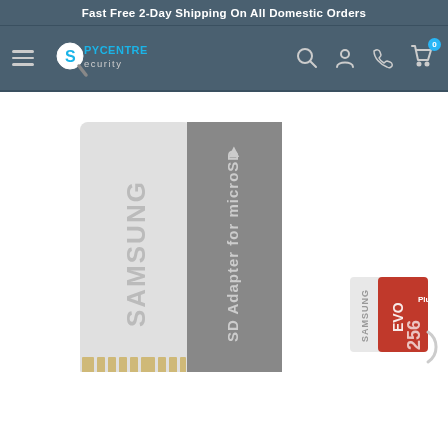Fast Free 2-Day Shipping On All Domestic Orders
[Figure (screenshot): SpyCentre Security website navigation bar with hamburger menu, logo, search icon, account icon, phone icon, and cart icon with badge showing 0]
[Figure (photo): Samsung SD Adapter for microSD card (large white and grey card) and Samsung EVO Plus 256GB microSD card (small red and white card), both partially visible on white background]